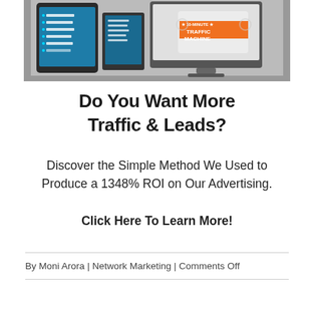[Figure (screenshot): Screenshot showing a tablet and laptop displaying a digital course/product interface. The tablet shows a module list (Module 2, Module 3, Module 4, Module 5, Module 6) and the laptop shows '10-Minute Traffic Machine' branding on a gray background.]
Do You Want More Traffic & Leads?
Discover the Simple Method We Used to Produce a 1348% ROI on Our Advertising.
Click Here To Learn More!
By Moni Arora | Network Marketing | Comments Off